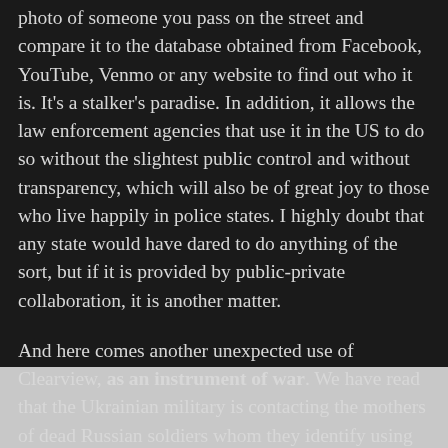photo of someone you pass on the street and compare it to the database obtained from Facebook, YouTube, Venmo or any website to find out who it is. It's a stalker's paradise. In addition, it allows the law enforcement agencies that use it in the US to do so without the slightest public control and without transparency, which will also be of great joy to those who live happily in police states. I highly doubt that any state would have dared to do anything of the sort, but if it is provided by public-private collaboration, it is another matter.
And here comes another unexpected use of Clearview, as an instrument of war. We have read that the Ukrainian military is contacting the mothers of dead Russian soldiers whom they identify using Clearview AI's facial recognition